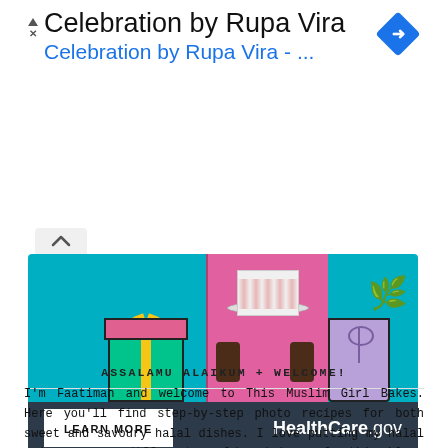Celebration by Rupa Vira
Celebration by Rupa Vira - ...
[Figure (screenshot): HealthCare.gov advertisement banner showing cartoon gift boxes and a person holding a birthday cake on teal background, with LEARN MORE button and HealthCare.gov branding on dark navy bottom bar.]
ASSALAMU ALAIKUM + WELCOME!
I'm Faatimah and welcome to This Muslim Girl Bakes. Here you'll find step-by-step photo recipes for both sweet and savoury halal dishes. I love putting my halal spin on many different world cuisines. On this blog, you'll find plenty of